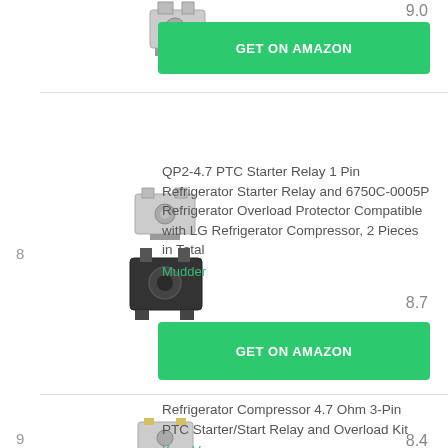[Figure (photo): Partial product image of a relay/electronic component at top of page]
9.0
GET ON AMAZON
8 QP2-4.7 PTC Starter Relay 1 Pin Refrigerator Starter Relay and 6750C-0005P Refrigerator Overload Protector Compatible with LG Refrigerator Compressor, 2 Pieces in Total
Mudder
8.7
GET ON AMAZON
[Figure (photo): Product image of QP2-4.7 PTC Starter Relay and 6750C-0005P Refrigerator Overload Protector]
9 Refrigerator Compressor 4.7 Ohm 3-Pin PTC Starter/Start Relay and Overload Kit
KongV
8.4
[Figure (photo): Product image of Refrigerator Compressor 4.7 Ohm 3-Pin PTC Starter/Start Relay and Overload Kit]